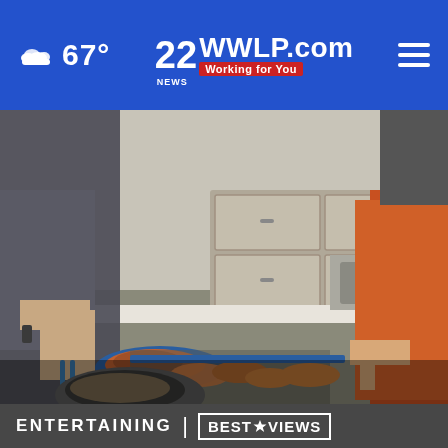67° | 22 WWLP.com NEWS Working for You
[Figure (photo): Two people in a kitchen setting handling blue plates and trays of cooked food, possibly a cooking segment. Counter has multiple dishes with cooked meat and rice/grain dishes. The person on the left wears dark clothing, the person on the right wears an orange hoodie.]
ENTERTAINING | BESTREVIEWS